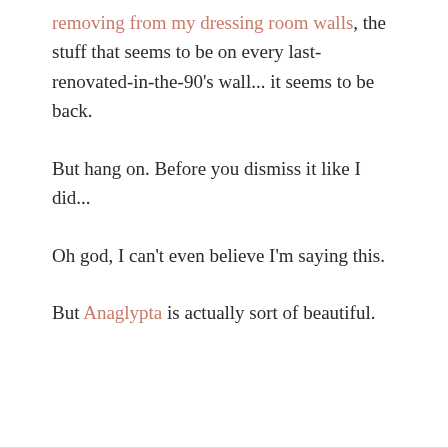removing from my dressing room walls, the stuff that seems to be on every last-renovated-in-the-90's wall... it seems to be back.
But hang on. Before you dismiss it like I did...
Oh god, I can't even believe I'm saying this.
But Anaglypta is actually sort of beautiful.